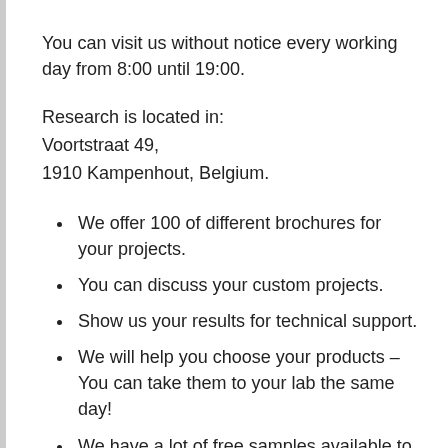You can visit us without notice every working day from 8:00 until 19:00.
Research is located in:
Voortstraat 49,
1910 Kampenhout, Belgium.
We offer 100 of different brochures for your projects.
You can discuss your custom projects.
Show us your results for technical support.
We will help you choose your products – You can take them to your lab the same day!
We have a lot of free samples available to test.